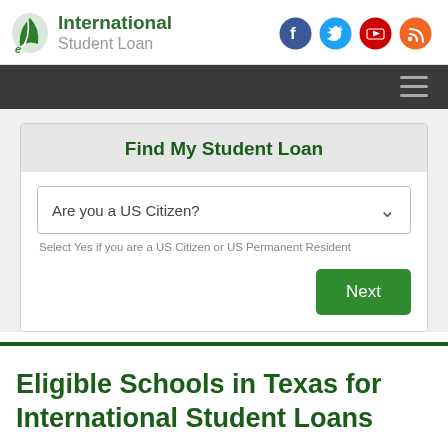[Figure (logo): International Student Loan logo with green leaf-circle icon and text]
[Figure (infographic): Social media icons: Facebook (blue), Twitter (light blue), YouTube (red), RSS (orange)]
[Figure (other): Dark navigation bar with hamburger menu icon on the right]
Find My Student Loan
Are you a US Citizen?
Select Yes if you are a US Citizen or US Permanent Resident
Eligible Schools in Texas for International Student Loans